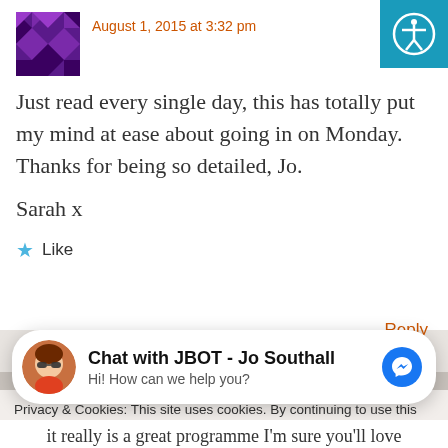August 1, 2015 at 3:32 pm
Just read every single day, this has totally put my mind at ease about going in on Monday. Thanks for being so detailed, Jo.

Sarah x
Like
Reply
Privacy & Cookies: This site uses cookies. By continuing to use this website, you agree to their use.
To find out more, including how to control cookies, see here: Cookie Polic…
Chat with JBOT - Jo Southall
Hi! How can we help you?
it really is a great programme I'm sure you'll love